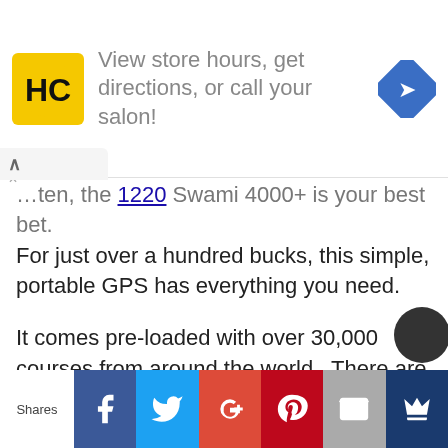[Figure (screenshot): Advertisement banner for a salon app (HC logo) with text 'View store hours, get directions, or call your salon!' and a navigation/maps icon]
…ten, the 1220 Swami 4000+ is your best bet. For just over a hundred bucks, this simple, portable GPS has everything you need.
It comes pre-loaded with over 30,000 courses from around the world.  There are also no subscription or download fees for the updating the device.   The GPS gives you distance measurements to the front/center/back of green, hazards, and even doglegs.  The LCD screen is large, clear, and easy to read, so you
[Figure (screenshot): Social share bar at bottom with buttons: Shares label, Facebook, Twitter, Google+, Pinterest, Email, Crown/bookmark icon]